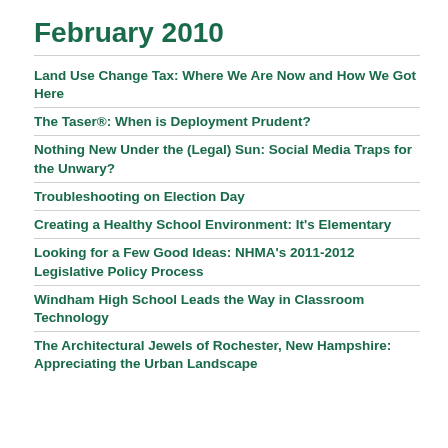February 2010
Land Use Change Tax: Where We Are Now and How We Got Here
The Taser®: When is Deployment Prudent?
Nothing New Under the (Legal) Sun: Social Media Traps for the Unwary?
Troubleshooting on Election Day
Creating a Healthy School Environment: It's Elementary
Looking for a Few Good Ideas: NHMA's 2011-2012 Legislative Policy Process
Windham High School Leads the Way in Classroom Technology
The Architectural Jewels of Rochester, New Hampshire: Appreciating the Urban Landscape